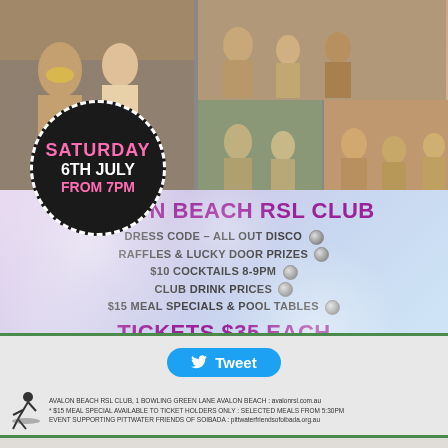[Figure (photo): Photo collage showing people from Soibada community — left photo shows women, top right shows children, bottom right shows adults and children]
[Figure (other): Circular black badge with dashed white border reading SATURDAY 6TH JULY FROM 7PM in pink and white text]
AVALON BEACH RSL CLUB
DRESS CODE – ALL OUT DISCO
RAFFLES & LUCKY DOOR PRIZES
$10 COCKTAILS 8-9PM
CLUB DRINK PRICES
$15 MEAL SPECIALS & POOL TABLES
TICKETS $35 EACH
AVAILABLE FROM STUDIO HAIR, MITRE 10 AVALON, AVALON RSL & ONLINE : AVALONRSL.COM.AU/STAYINALIVE. FOR MORE INFO CALL IAN ON 0416 182 092
AVALON BEACH RSL CLUB, 1 BOWLING GREEN LANE AVALON BEACH : avalonrsl.com.au * $15 MEAL SPECIAL AVAILABLE TO TICKET HOLDERS ONLY : SELECTED MEALS FROM 5:30PM EVENT SUPPORTING PITTWATER FRIENDS OF SOIBADA : pittwaterfriendsofoibada.org.au
[Figure (other): Tweet button with Twitter bird icon]